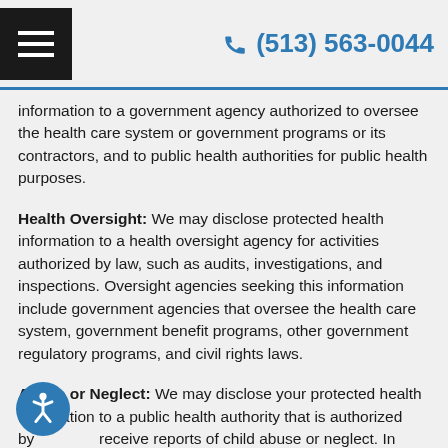(513) 563-0044
information to a government agency authorized to oversee the health care system or government programs or its contractors, and to public health authorities for public health purposes.
Health Oversight: We may disclose protected health information to a health oversight agency for activities authorized by law, such as audits, investigations, and inspections. Oversight agencies seeking this information include government agencies that oversee the health care system, government benefit programs, other government regulatory programs, and civil rights laws.
Abuse or Neglect: We may disclose your protected health information to a public health authority that is authorized by receive reports of child abuse or neglect. In addition, we may disclose your protected health information if we